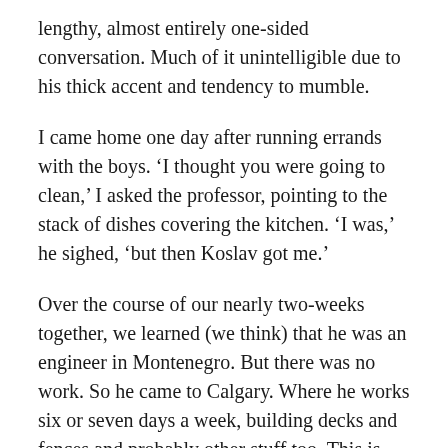lengthy, almost entirely one-sided conversation. Much of it unintelligible due to his thick accent and tendency to mumble.
I came home one day after running errands with the boys. ‘I thought you were going to clean,’ I asked the professor, pointing to the stack of dishes covering the kitchen. ‘I was,’ he sighed, ‘but then Koslav got me.’
Over the course of our nearly two-weeks together, we learned (we think) that he was an engineer in Montenegro. But there was no work. So he came to Calgary. Where he works six or seven days a week, building decks and fences and probably other stuff too. This is what enabled him to save up $25000 to send his wife and four kids (one boy and three girls, we deduced from conversations like ‘he thinks he a princess’) back to Montenegro for the summer. This